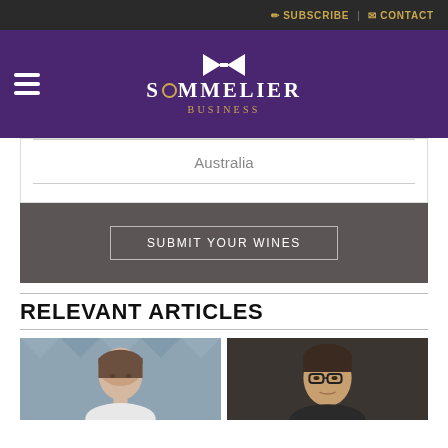SUBSCRIBE | CONTACT
[Figure (logo): Sommelier Business logo with bowtie icon, white text on purple background]
Australia
SUBMIT YOUR WINES
RELEVANT ARTICLES
[Figure (photo): Two portrait photos side by side: woman on left, man with glasses on right]